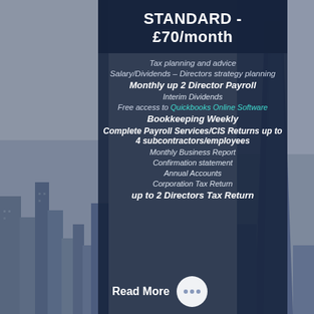STANDARD - £70/month
Tax planning and advice
Salary/Dividends – Directors strategy planning
Monthly up 2 Director Payroll
Interim Dividends
Free access to Quickbooks Online Software
Bookkeeping Weekly
Complete Payroll Services/CIS Returns up to 4 subcontractors/employees
Monthly Business Report
Confirmation statement
Annual Accounts
Corporation Tax Return
up to 2 Directors Tax Return
Read More